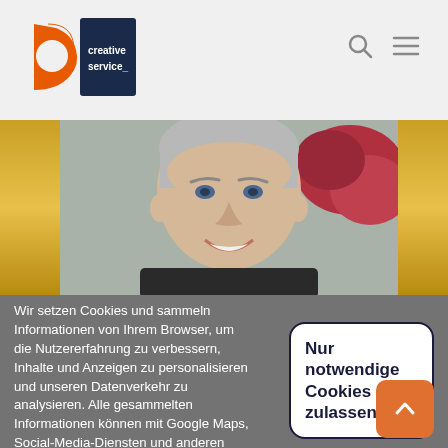[Figure (logo): Creative Service logo — orange curved mark with dark blue rectangle and text 'creative service_']
[Figure (photo): Navigation icons: magnifying glass search icon and hamburger menu icon on light grey header background]
[Figure (photo): Hero image: man smiling with grey/white hair, wearing dark jacket, red flowers in background, flanked by golden/yellow vertical bars on left and right]
Wir setzen Cookies und sammeln Informationen von Ihrem Browser, um die Nutzererfahrung zu verbessern, Inhalte und Anzeigen zu personalisieren und unseren Datenverkehr zu analysieren. Alle gesammelten Informationen können mit Google Maps, Social-Media-Diensten und anderen Drittanbietern geteilt werden. Welche Daten erhoben werden steht in unserer Datenschutzerklärung. Settings ˅
[Figure (other): Button with rounded corners and dark border reading 'Nur notwendige Cookies zulassen' in bold dark navy text on white background]
[Figure (other): Orange rounded square scroll-to-top button with upward chevron arrow]